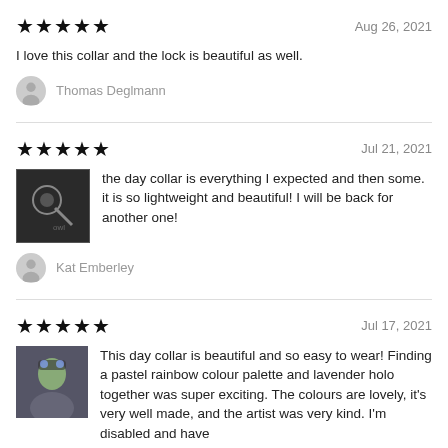★★★★★   Aug 26, 2021
I love this collar and the lock is beautiful as well.
Thomas Deglmann
★★★★★   Jul 21, 2021
the day collar is everything I expected and then some. it is so lightweight and beautiful! I will be back for another one!
Kat Emberley
★★★★★   Jul 17, 2021
This day collar is beautiful and so easy to wear! Finding a pastel rainbow colour palette and lavender holo together was super exciting. The colours are lovely, it's very well made, and the artist was very kind. I'm disabled and have